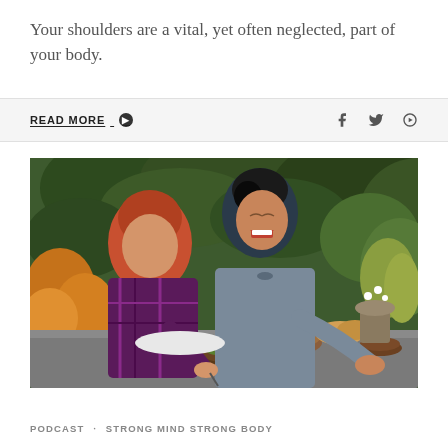Your shoulders are a vital, yet often neglected, part of your body.
READ MORE ➔
[Figure (photo): Two men sitting outdoors at a table with food, laughing together. Green foliage background, bowl of fruit and bread visible.]
PODCAST · STRONG MIND STRONG BODY